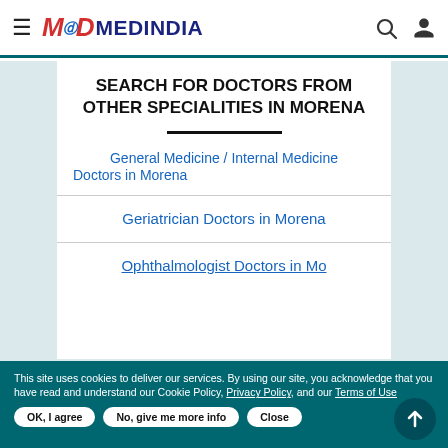MEDINDIA
SEARCH FOR DOCTORS FROM OTHER SPECIALITIES IN MORENA
General Medicine / Internal Medicine Doctors in Morena
Geriatrician Doctors in Morena
Ophthalmologist Doctors in Morena (partial)
This site uses cookies to deliver our services. By using our site, you acknowledge that you have read and understand our Cookie Policy, Privacy Policy, and our Terms of Use